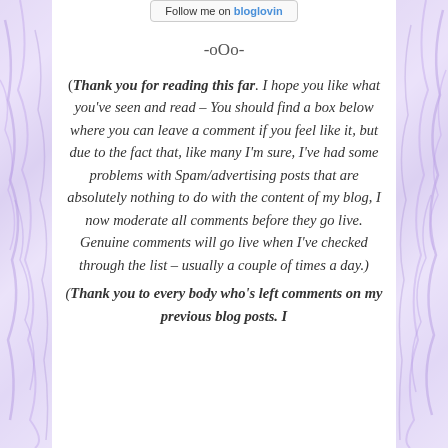[Figure (other): Bloglovin follow button at top]
-oOo-
(Thank you for reading this far. I hope you like what you've seen and read – You should find a box below where you can leave a comment if you feel like it, but due to the fact that, like many I'm sure, I've had some problems with Spam/advertising posts that are absolutely nothing to do with the content of my blog, I now moderate all comments before they go live. Genuine comments will go live when I've checked through the list – usually a couple of times a day.) (Thank you to every body who's left comments on my previous blog posts. I